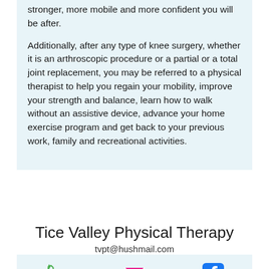stronger, more mobile and more confident you will be after.
Additionally, after any type of knee surgery, whether it is an arthroscopic procedure or a partial or a total joint replacement, you may be referred to a physical therapist to help you regain your mobility, improve your strength and balance, learn how to walk without an assistive device, advance your home exercise program and get back to your previous work, family and recreational activities.
Tice Valley Physical Therapy
tvpt@hushmail.com
[Figure (infographic): Icon bar with three icons: green phone icon, pink/magenta email envelope icon, blue Facebook icon]